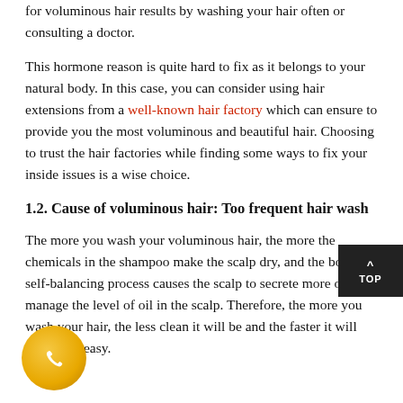for voluminous hair results by washing your hair often or consulting a doctor.
This hormone reason is quite hard to fix as it belongs to your natural body. In this case, you can consider using hair extensions from a well-known hair factory which can ensure to provide you the most voluminous and beautiful hair. Choosing to trust the hair factories while finding some ways to fix your inside issues is a wise choice.
1.2. Cause of voluminous hair: Too frequent hair wash
The more you wash your voluminous hair, the more the chemicals in the shampoo make the scalp dry, and the body's self-balancing process causes the scalp to secrete more oil to manage the level of oil in the scalp. Therefore, the more you wash your hair, the less clean it will be and the faster it will become greasy.